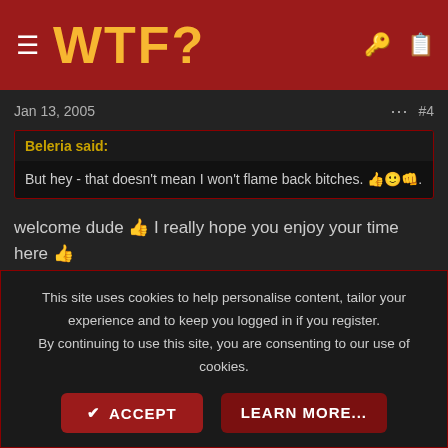WTF?
Jan 13, 2005  #4
Beleria said:
But hey - that doesn't mean I won't flame back bitches. 👍🙂👊.
welcome dude 👍 I really hope you enjoy your time here 👍
Havok
Mr. Ee
This site uses cookies to help personalise content, tailor your experience and to keep you logged in if you register.
By continuing to use this site, you are consenting to our use of cookies.
ACCEPT  LEARN MORE...